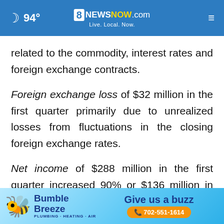94° 8 News Now .com Live. Local. Now.
related to the commodity, interest rates and foreign exchange contracts.
Foreign exchange loss of $32 million in the first quarter primarily due to unrealized losses from fluctuations in the closing foreign exchange rates.
Net income of $288 million in the first quarter increased 90% or $136 million in the first quarter of 20... 2021 primarily as a result of the factors described
[Figure (screenshot): Bumble Breeze advertisement banner with bee mascot, 'Give us a buzz' text, phone number 702-551-1614, and a close button]